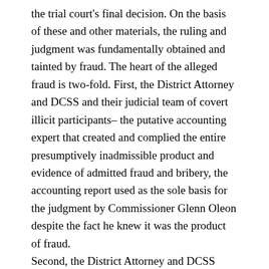the trial court's final decision. On the basis of these and other materials, the ruling and judgment was fundamentally obtained and tainted by fraud. The heart of the alleged fraud is two-fold. First, the District Attorney and DCSS and their judicial team of covert illicit participants– the putative accounting expert that created and complied the entire presumptively inadmissible product and evidence of admitted fraud and bribery, the accounting report used as the sole basis for the judgment by Commissioner Glenn Oleon despite the fact he knew it was the product of fraud.
Second, the District Attorney and DCSS wresting control of the judicial process by exercising a clearly illegal conflict of interest in misrepresenting the family, conducting a complete trial to defend their illegal actions and evidence before admitting the conflict AFTER the trial was completed, exerting undue influence in the process, by conspiring with the court Commissioner Oleon; applying political pressure in order to obtain a judgment based on political advantage rather than the